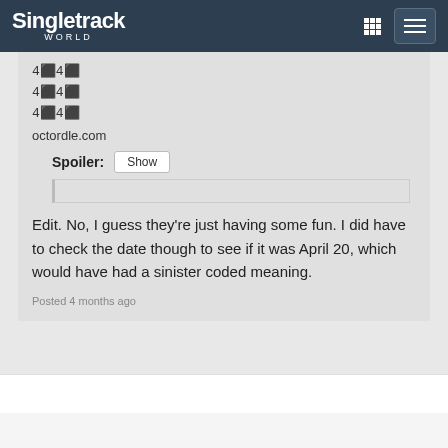Singletrack World
4⬛4⬛
4⬛4⬛
4⬛4⬛
octordle.com
Spoiler: Show
Edit. No, I guess they're just having some fun. I did have to check the date though to see if it was April 20, which would have had a sinister coded meaning.
Posted 4 months ago